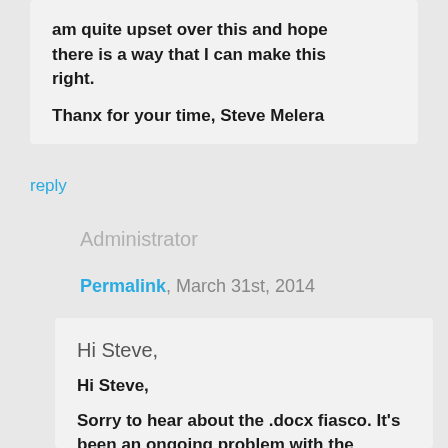am quite upset over this and hope there is a way that I can make this right.

Thanx for your time, Steve Melera
reply
Administrator
Permalink, March 31st, 2014
Hi Steve,

Hi Steve,

Sorry to hear about the .docx fiasco. It's been an ongoing problem with the submission form. Anyhow, you're allowed to resubmit, and there's no additional fee to do that. S...